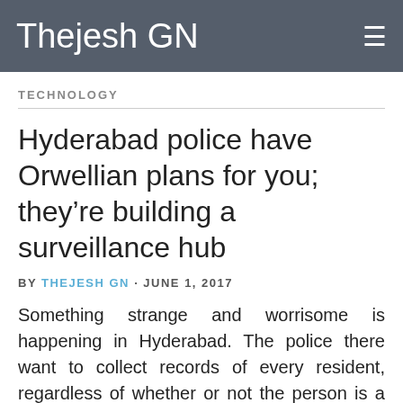Thejesh GN
TECHNOLOGY
Hyderabad police have Orwellian plans for you; they’re building a surveillance hub
BY THEJESH GN · JUNE 1, 2017
Something strange and worrisome is happening in Hyderabad. The police there want to collect records of every resident, regardless of whether or not the person is a suspect of any crime. And it doesn’t end there. They want to collect very specific details including